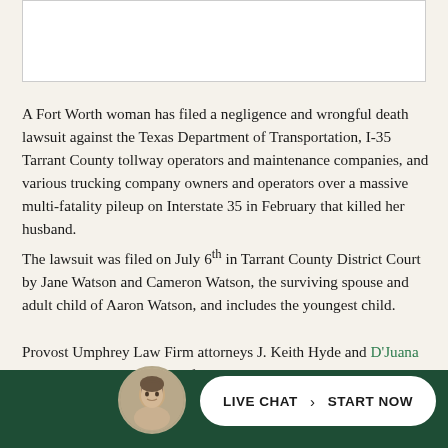[Figure (photo): White rectangular image box at the top of the page]
A Fort Worth woman has filed a negligence and wrongful death lawsuit against the Texas Department of Transportation, I-35 Tarrant County tollway operators and maintenance companies, and various trucking company owners and operators over a massive multi-fatality pileup on Interstate 35 in February that killed her husband.
The lawsuit was filed on July 6th in Tarrant County District Court by Jane Watson and Cameron Watson, the surviving spouse and adult child of Aaron Watson, and includes the youngest child.
Provost Umphrey Law Firm attorneys J. Keith Hyde and D'Juana Parks represent the Watson family.
Accordi...
[Figure (photo): Circular avatar photo of a man in a suit, overlaid on a dark green live chat bar at the bottom]
[Figure (infographic): Live chat button with text LIVE CHAT followed by START NOW on white rounded pill background over dark green bar]